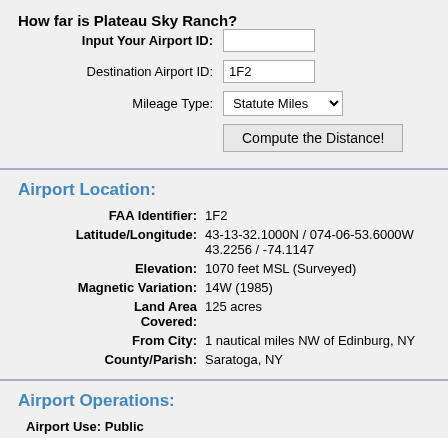How far is Plateau Sky Ranch?
Input Your Airport ID: [input field]
Destination Airport ID: 1F2
Mileage Type: Statute Miles
Compute the Distance! [button]
Airport Location:
FAA Identifier: 1F2
Latitude/Longitude: 43-13-32.1000N / 074-06-53.6000W
43.2256 / -74.1147
Elevation: 1070 feet MSL (Surveyed)
Magnetic Variation: 14W (1985)
Land Area Covered: 125 acres
From City: 1 nautical miles NW of Edinburg, NY
County/Parish: Saratoga, NY
Airport Operations:
Airport Use: Public